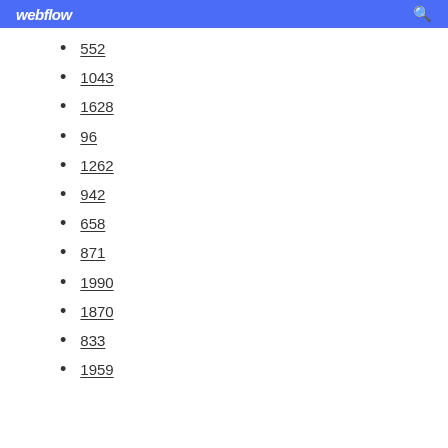webflow
552
1043
1628
96
1262
942
658
871
1990
1870
833
1959